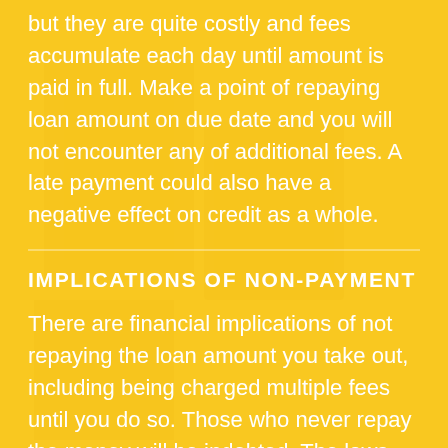but they are quite costly and fees accumulate each day until amount is paid in full. Make a point of repaying loan amount on due date and you will not encounter any of additional fees. A late payment could also have a negative effect on credit as a whole.
IMPLICATIONS OF NON-PAYMENT
There are financial implications of not repaying the loan amount you take out, including being charged multiple fees until you do so. Those who never repay the money will be indebted. The laws regarding collection practices for debt vary depending on your location. Please check lender's terms and conditions for information about collection practices.